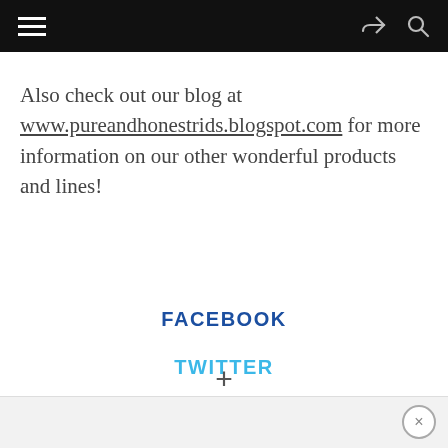Also check out our blog at www.pureandhonestrids.blogspot.com for more information on our other wonderful products and lines!
FACEBOOK
TWITTER
PINTEREST